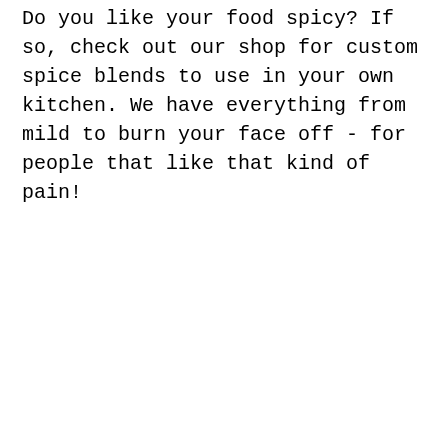Do you like your food spicy? If so, check out our shop for custom spice blends to use in your own kitchen. We have everything from mild to burn your face off - for people that like that kind of pain!